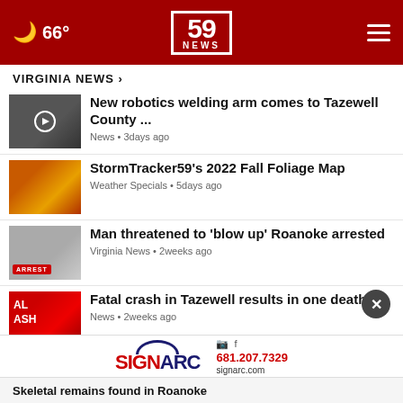[Figure (screenshot): Website header with red background showing moon icon, 66° temperature, 59 NEWS logo, and hamburger menu]
VIRGINIA NEWS ›
New robotics welding arm comes to Tazewell County ... — News • 3 days ago
StormTracker59's 2022 Fall Foliage Map — Weather Specials • 5 days ago
Man threatened to 'blow up' Roanoke arrested — Virginia News • 2 weeks ago
Fatal crash in Tazewell results in one death — News • 2 weeks ago
Graham Middle School welcomes ...
[Figure (infographic): SIGNARC advertisement with logo, Instagram/Facebook icons, phone 681.207.7329 and signarc.com]
Skeletal remains found in Roanoke ...